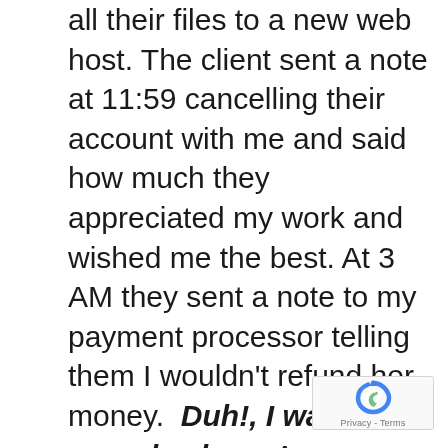all their files to a new web host. The client sent a note at 11:59 cancelling their account with me and said how much they appreciated my work and wished me the best. At 3 AM they sent a note to my payment processor telling them I wouldn't refund her money.  Duh!, I was sound asleep. As soon as I woke up, I refunded their money and took down the old website. Well, as the client was an amateur they got the files but forgot one very important thing, their email! A week later, they emailed me and asked for their email. I had already taken down
[Figure (logo): reCAPTCHA badge with blue arrow logo and Privacy - Terms text]